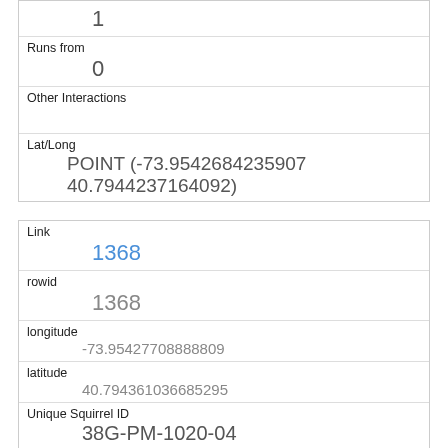|  | 1 |
| Runs from | 0 |
| Other Interactions |  |
| Lat/Long | POINT (-73.9542684235907 40.7944237164092) |
| Link | 1368 |
| rowid | 1368 |
| longitude | -73.95427708888809 |
| latitude | 40.794361036685295 |
| Unique Squirrel ID | 38G-PM-1020-04 |
| Hectare | 38G |